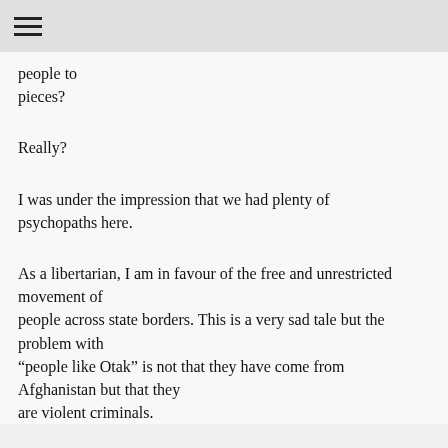≡
people to
pieces?
Really?
I was under the impression that we had plenty of psychopaths here.
As a libertarian, I am in favour of the free and unrestricted movement of people across state borders. This is a very sad tale but the problem with “people like Otak” is not that they have come from Afghanistan but that they are violent criminals.